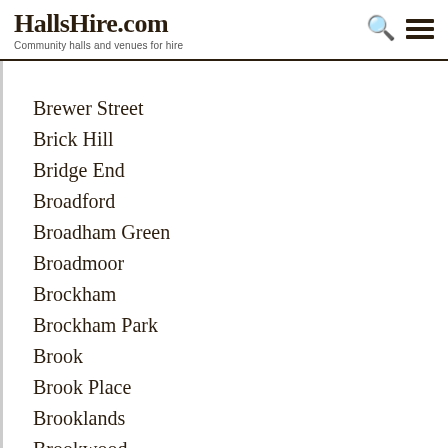HallsHire.com — Community halls and venues for hire
Brewer Street
Brick Hill
Bridge End
Broadford
Broadham Green
Broadmoor
Brockham
Brockham Park
Brook
Brook Place
Brooklands
Brookwood
Broomhall
Buckland
Bunce Common
Burgh Heath